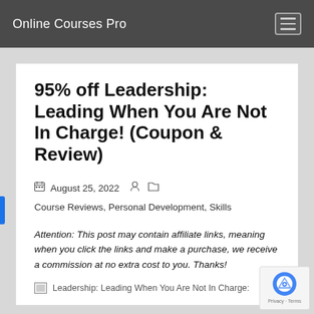Online Courses Pro
95% off Leadership: Leading When You Are Not In Charge! (Coupon & Review)
August 25, 2022   Course Reviews, Personal Development, Skills
Attention: This post may contain affiliate links, meaning when you click the links and make a purchase, we receive a commission at no extra cost to you. Thanks!
[Figure (photo): Leadership: Leading When You Are Not In Charge course image placeholder]